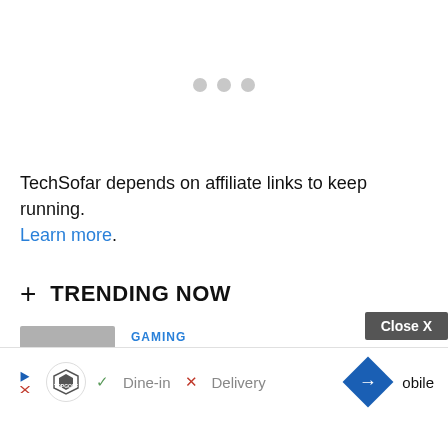[Figure (other): Three light gray loading dots centered horizontally]
TechSofar depends on affiliate links to keep running. Learn more.
+ TRENDING NOW
[Figure (other): Thumbnail card with gray background and large number 1, tagged GAMING category]
[Figure (other): Advertisement banner overlay for TopGolf showing Dine-in checkmark, X Delivery, navigation arrow, and Close X button. Text cut off: ...obile]